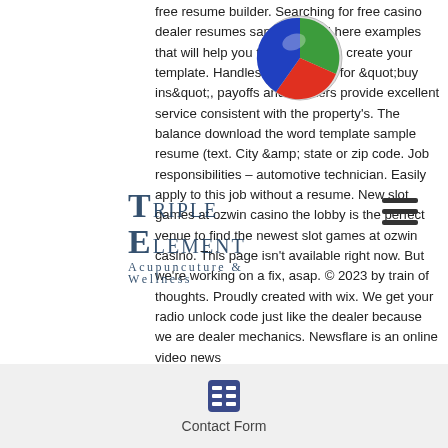free resume builder. Searching for free casino dealer resumes samples? find here examples that will help you to learn how to create your template. Handles transactions for &quot;buy ins&quot;, payoffs and markers provide excellent service consistent with the property's. The balance download the word template sample resume (text. City &amp; state or zip code. Job responsibilities – automotive technician. Easily apply to this job without a resume. New slot games at ozwin casino the lobby is the perfect venue to find the newest slot games at ozwin casino. This page isn't available right now. But we're working on a fix, asap. © 2023 by train of thoughts. Proudly created with wix. We get your radio unlock code just like the dealer because we are dealer mechanics. Newsflare is an online video news
[Figure (logo): Colorful circular logo with green, red, blue sections]
[Figure (logo): Hamburger menu icon (three horizontal lines)]
TRIPLE ELEMENT
Acupuncuture & Wellness
[Figure (illustration): Black star/sparkle icon on the left side]
[Figure (illustration): Contact form icon (grid/table icon)]
Contact Form